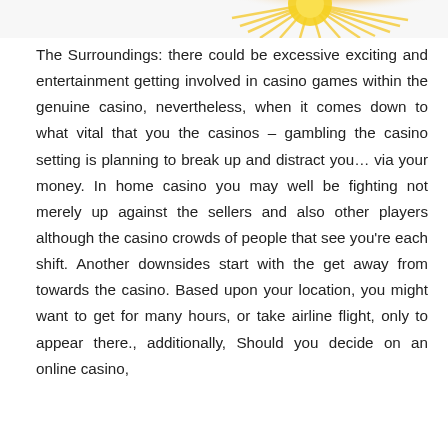[Figure (illustration): Partial decorative image at top of page, appears to show a yellow/gold sunburst or star shape against a light background]
The Surroundings: there could be excessive exciting and entertainment getting involved in casino games within the genuine casino, nevertheless, when it comes down to what vital that you the casinos – gambling the casino setting is planning to break up and distract you… via your money. In home casino you may well be fighting not merely up against the sellers and also other players although the casino crowds of people that see you're each shift. Another downsides start with the get away from towards the casino. Based upon your location, you might want to get for many hours, or take airline flight, only to appear there., additionally, Should you decide on an online casino,